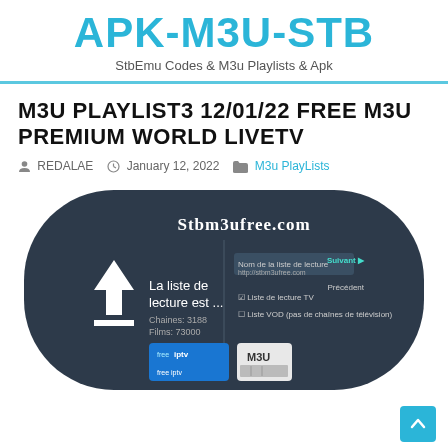APK-M3U-STB
StbEmu Codes & M3u Playlists & Apk
M3U PLAYLIST3 12/01/22 FREE M3U PREMIUM WORLD LIVETV
REDALAE   January 12, 2022   M3u PlayLists
[Figure (screenshot): Screenshot of Stbm3ufree.com website showing a dark-themed interface with a download icon, text 'La liste de lecture est ...' and free IPTV M3U logos at the bottom]